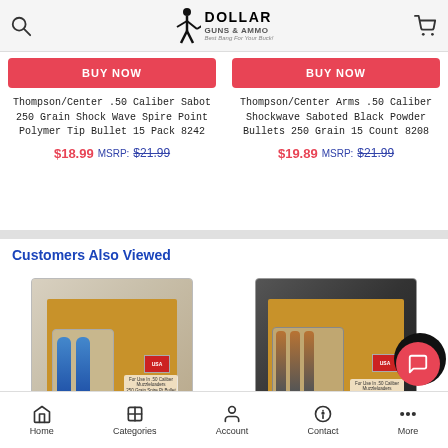[Figure (logo): Dollar Guns & Ammo logo with figure holding gun, search icon left, cart icon right]
[Figure (other): BUY NOW red button for first product]
Thompson/Center .50 Caliber Sabot 250 Grain Shock Wave Spire Point Polymer Tip Bullet 15 Pack 8242
$18.99  MSRP: $21.99
[Figure (other): BUY NOW red button for second product]
Thompson/Center Arms .50 Caliber Shockwave Saboted Black Powder Bullets 250 Grain 15 Count 8208
$19.89  MSRP: $21.99
Customers Also Viewed
[Figure (photo): Product photo: ammunition pack with yellow bullets in blister packaging]
[Figure (photo): Product photo: black powder bullets pack with copper-tipped bullets in blister packaging]
Home  Categories  Account  Contact  More